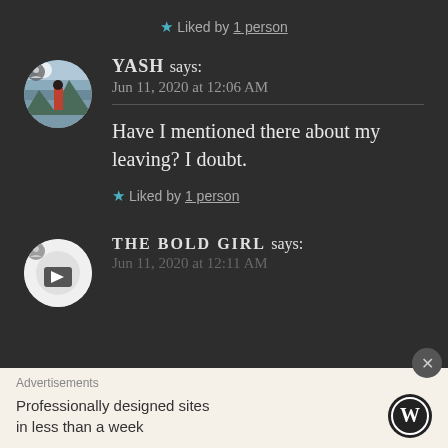★ Liked by 1 person
YASH says:
Jun 11, 2020 at 12:06 AM
Have I mentioned there about my leaving? I doubt.
★ Liked by 1 person
THE BOLD GIRL says:
Jun 11, 2020 at 12:11 AM
Advertisements
Professionally designed sites in less than a week